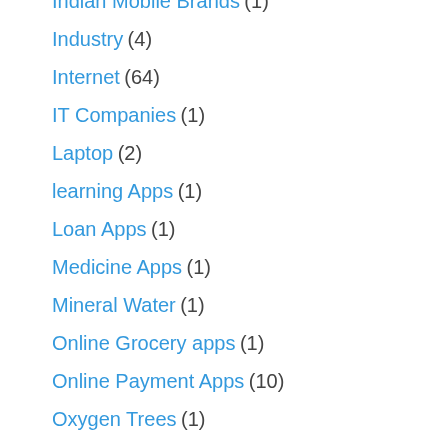Indian Mobile Brands (1)
Industry (4)
Internet (64)
IT Companies (1)
Laptop (2)
learning Apps (1)
Loan Apps (1)
Medicine Apps (1)
Mineral Water (1)
Online Grocery apps (1)
Online Payment Apps (10)
Oxygen Trees (1)